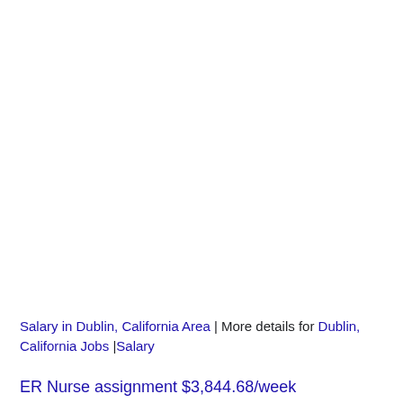Salary in Dublin, California Area | More details for Dublin, California Jobs |Salary
ER Nurse assignment $3,844.68/week